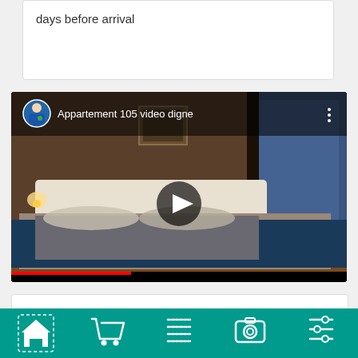days before arrival
[Figure (screenshot): YouTube-style video thumbnail showing a bedroom with a bed with blue bedding. Video title reads 'Appartement 105 video digne'. A circular avatar of a man in a blue suit with a bow tie is shown in the top left. A play button is centered on the video.]
Book With Jérôme -
[Figure (infographic): Teal navigation bar at the bottom with five icons: home (with dotted border), shopping cart, list/menu, camera, and settings/filter sliders.]